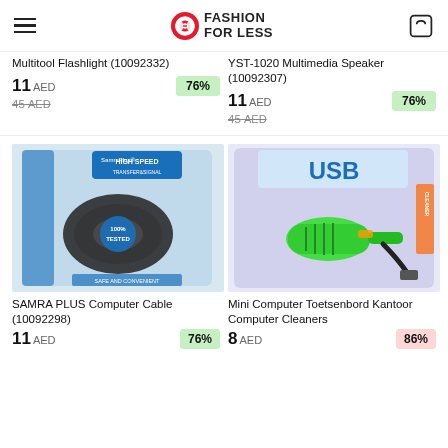Fashion For Less
Multitool Flashlight (10092332)
11 AED  76%  45 AED
YST-1020 Multimedia Speaker (10092307)
11 AED  76%  45 AED
[Figure (photo): SAMRA PLUS computer cable coiled in packaging bag with '100% Tested' and 'High Speed' labels]
[Figure (photo): Green USB mini computer keyboard cleaner/vacuum in packaging]
SAMRA PLUS Computer Cable (10092298)
11 AED  76%
Mini Computer Toetsenbord Kantoor Computer Cleaners
8 AED  86%